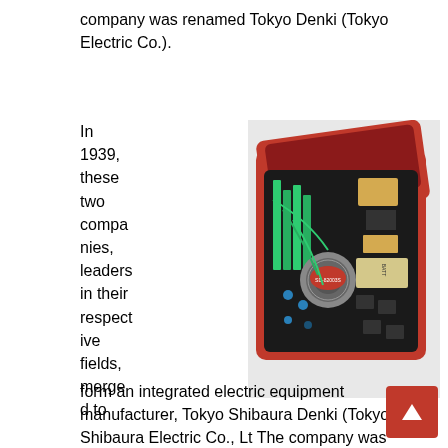company was renamed Tokyo Denki (Tokyo Electric Co.).
[Figure (photo): Open red plastic transistor radio case showing internal electronic components including a speaker, transistors, capacitors, wires, and a battery compartment with circuit board elements]
In 1939, these two companies, leaders in their respective fields, merged to form an integrated electric equipment manufacturer, Tokyo Shibaura Denki (Tokyo Shibaura Electric Co., Lt The company was regularly referred to simply as Toshiba, which became its official name in 1978. But